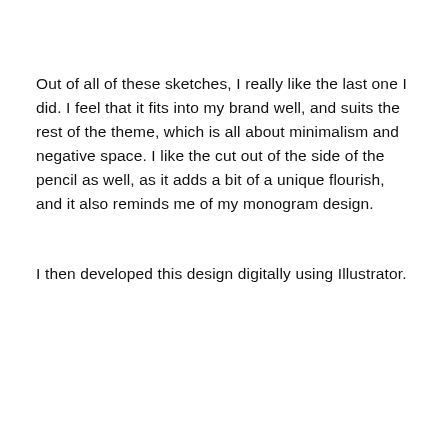Out of all of these sketches, I really like the last one I did. I feel that it fits into my brand well, and suits the rest of the theme, which is all about minimalism and negative space. I like the cut out of the side of the pencil as well, as it adds a bit of a unique flourish, and it also reminds me of my monogram design.
I then developed this design digitally using Illustrator.